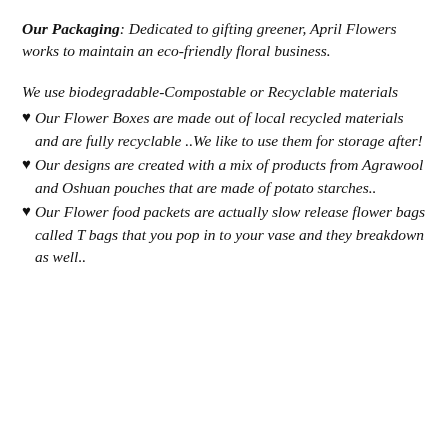Our Packaging: Dedicated to gifting greener, April Flowers works to maintain an eco-friendly floral business.
We use biodegradable-Compostable or Recyclable materials
Our Flower Boxes are made out of local recycled materials and are fully recyclable ..We like to use them for storage after!
Our designs are created with a mix of products from Agrawool and Oshuan pouches that are made of potato starches..
Our Flower food packets are actually slow release flower bags called T bags that you pop in to your vase and they breakdown as well..